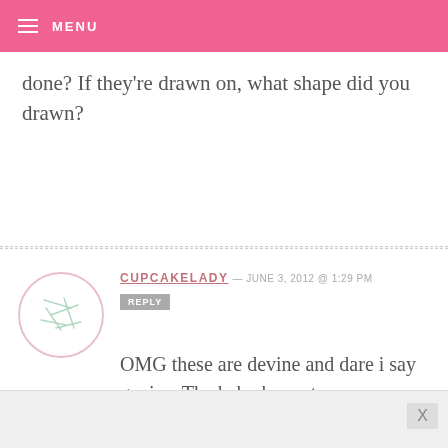MENU
done? If they're drawn on, what shape did you drawn?
CUPCAKELADY — JUNE 3, 2012 @ 1:29 PM
REPLY
OMG these are devine and dare i say genius. The baby bonnets are so creative!